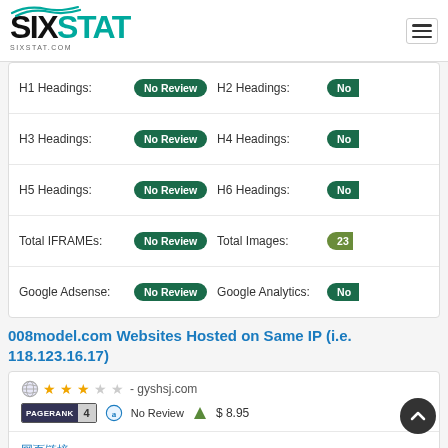SIXSTAT - sixstat.com
| Label | Value | Label2 | Value2 |
| --- | --- | --- | --- |
| H1 Headings: | No Review | H2 Headings: | No |
| H3 Headings: | No Review | H4 Headings: | No |
| H5 Headings: | No Review | H6 Headings: | No |
| Total IFRAMEs: | No Review | Total Images: | 23 |
| Google Adsense: | No Review | Google Analytics: | No |
008model.com Websites Hosted on Same IP (i.e. 118.123.16.17)
| Site | PageRank | Authority | Price |
| --- | --- | --- | --- |
| gyshsj.com | 4 | No Review | $ 8.95 |
| ybsjzj.com |  |  |  |